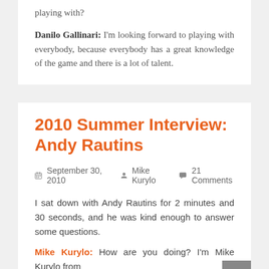playing with? Danilo Gallinari: I'm looking forward to playing with everybody, because everybody has a great knowledge of the game and there is a lot of talent.
2010 Summer Interview: Andy Rautins
September 30, 2010   Mike Kurylo   21 Comments
I sat down with Andy Rautins for 2 minutes and 30 seconds, and he was kind enough to answer some questions.
Mike Kurylo: How are you doing? I'm Mike Kurylo from